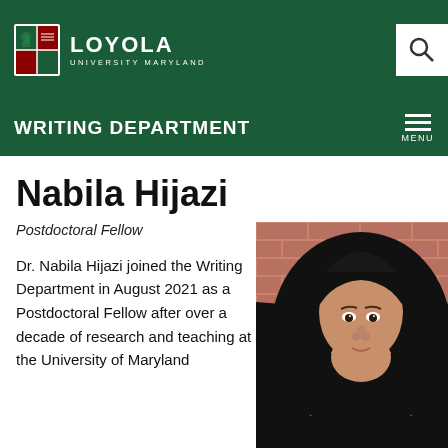Loyola University Maryland - Writing Department
Nabila Hijazi
Postdoctoral Fellow
Dr. Nabila Hijazi joined the Writing Department in August 2021 as a Postdoctoral Fellow after over a decade of research and teaching at the University of Maryland
[Figure (photo): Portrait photo of Dr. Nabila Hijazi wearing a black hijab and black clothing, standing in front of a brick wall background]